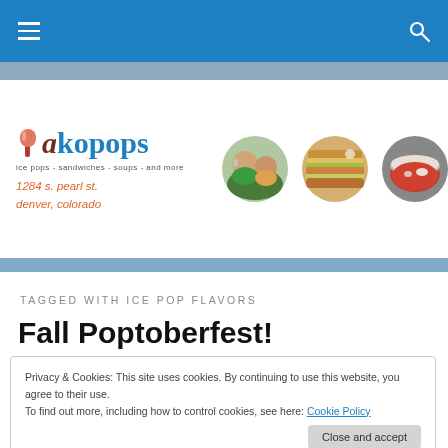Navigation bar with hamburger menu and search icon
[Figure (logo): Ako Pops logo with popsicle icon, text 'aiko pops', subtitle 'ice pops - sandwiches - soups - and more', address '1284 s. pearl st. denver, colorado']
[Figure (photo): Three circular food/people photos: people enjoying pops, a sandwich, and a bowl of soup]
TAGGED WITH ICE POP FLAVORS
Fall Poptoberfest!
Privacy & Cookies: This site uses cookies. By continuing to use this website, you agree to their use.
To find out more, including how to control cookies, see here: Cookie Policy
coming up to our cart and trying all our great new fall